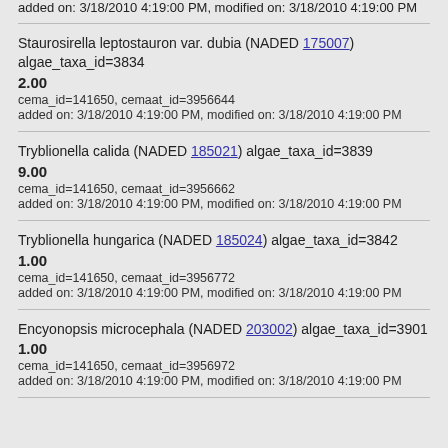added on: 3/18/2010 4:19:00 PM, modified on: 3/18/2010 4:19:00 PM
Staurosirella leptostauron var. dubia (NADED 175007) algae_taxa_id=3834
2.00
cema_id=141650, cemaat_id=3956644
added on: 3/18/2010 4:19:00 PM, modified on: 3/18/2010 4:19:00 PM
Tryblionella calida (NADED 185021) algae_taxa_id=3839
9.00
cema_id=141650, cemaat_id=3956662
added on: 3/18/2010 4:19:00 PM, modified on: 3/18/2010 4:19:00 PM
Tryblionella hungarica (NADED 185024) algae_taxa_id=3842
1.00
cema_id=141650, cemaat_id=3956772
added on: 3/18/2010 4:19:00 PM, modified on: 3/18/2010 4:19:00 PM
Encyonopsis microcephala (NADED 203002) algae_taxa_id=3901
1.00
cema_id=141650, cemaat_id=3956972
added on: 3/18/2010 4:19:00 PM, modified on: 3/18/2010 4:19:00 PM